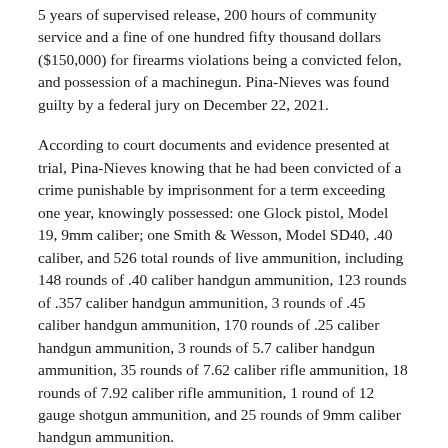5 years of supervised release, 200 hours of community service and a fine of one hundred fifty thousand dollars ($150,000) for firearms violations being a convicted felon, and possession of a machinegun. Pina-Nieves was found guilty by a federal jury on December 22, 2021.
According to court documents and evidence presented at trial, Pina-Nieves knowing that he had been convicted of a crime punishable by imprisonment for a term exceeding one year, knowingly possessed: one Glock pistol, Model 19, 9mm caliber; one Smith & Wesson, Model SD40, .40 caliber, and 526 total rounds of live ammunition, including 148 rounds of .40 caliber handgun ammunition, 123 rounds of .357 caliber handgun ammunition, 3 rounds of .45 caliber handgun ammunition, 170 rounds of .25 caliber handgun ammunition, 3 rounds of 5.7 caliber handgun ammunition, 35 rounds of 7.62 caliber rifle ammunition, 18 rounds of 7.92 caliber rifle ammunition, 1 round of 12 gauge shotgun ammunition, and 25 rounds of 9mm caliber handgun ammunition.
The Glock pistol, Model 19, 9mm caliber possessed by Pina-Nieves was a machine gun, as it was modified to shoot more than one shot, without manual reloading, by a single function of the trigger.
U.S. Attorney W. Stephen Muldrow of the District of Puerto Rico, Joseph González, Special Agent in Charge of the FBI, and Matthew D. Nieves, Special Agent in Charge of the ATF, Investigations...